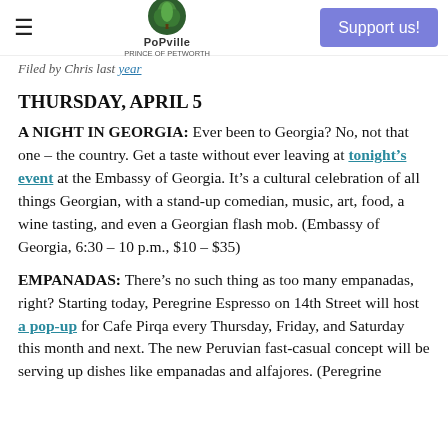PoPville — Support us!
Filed by Chris last year
THURSDAY, APRIL 5
A NIGHT IN GEORGIA: Ever been to Georgia? No, not that one – the country. Get a taste without ever leaving at tonight's event at the Embassy of Georgia. It's a cultural celebration of all things Georgian, with a stand-up comedian, music, art, food, a wine tasting, and even a Georgian flash mob. (Embassy of Georgia, 6:30 – 10 p.m., $10 – $35)
EMPANADAS: There's no such thing as too many empanadas, right? Starting today, Peregrine Espresso on 14th Street will host a pop-up for Cafe Pirqa every Thursday, Friday, and Saturday this month and next. The new Peruvian fast-casual concept will be serving up dishes like empanadas and alfajores. (Peregrine